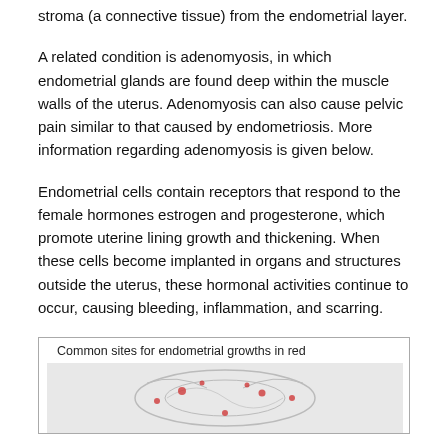stroma (a connective tissue) from the endometrial layer.
A related condition is adenomyosis, in which endometrial glands are found deep within the muscle walls of the uterus. Adenomyosis can also cause pelvic pain similar to that caused by endometriosis. More information regarding adenomyosis is given below.
Endometrial cells contain receptors that respond to the female hormones estrogen and progesterone, which promote uterine lining growth and thickening. When these cells become implanted in organs and structures outside the uterus, these hormonal activities continue to occur, causing bleeding, inflammation, and scarring.
[Figure (illustration): Diagram showing common sites for endometrial growths highlighted in red, with a labeled anatomical illustration of the female reproductive system.]
Common sites for endometrial growths in red